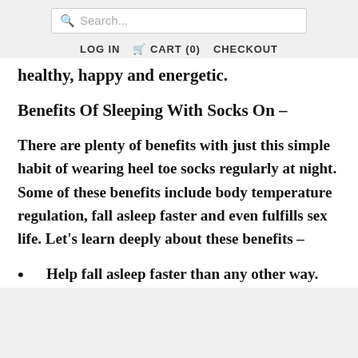Search... LOG IN CART (0) CHECKOUT
healthy, happy and energetic.
Benefits Of Sleeping With Socks On –
There are plenty of benefits with just this simple habit of wearing heel toe socks regularly at night. Some of these benefits include body temperature regulation, fall asleep faster and even fulfills sex life. Let's learn deeply about these benefits –
Help fall asleep faster than any other way.